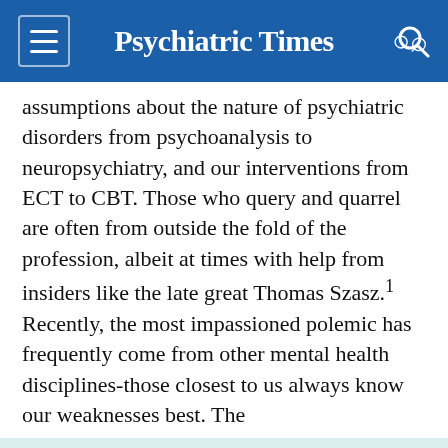Psychiatric Times
assumptions about the nature of psychiatric disorders from psychoanalysis to neuropsychiatry, and our interventions from ECT to CBT. Those who query and quarrel are often from outside the fold of the profession, albeit at times with help from insiders like the late great Thomas Szasz.¹ Recently, the most impassioned polemic has frequently come from other mental health disciplines-those closest to us always know our weaknesses best. The
This website stores data such as cookies to enable essential site functionality, as well as marketing, personalization, and analytics. Cookie Policy
Accept
Deny